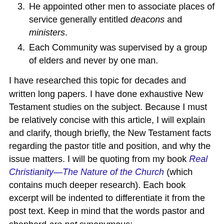3. He appointed other men to associate places of service generally entitled deacons and ministers.
4. Each Community was supervised by a group of elders and never by one man.
I have researched this topic for decades and written long papers. I have done exhaustive New Testament studies on the subject. Because I must be relatively concise with this article, I will explain and clarify, though briefly, the New Testament facts regarding the pastor title and position, and why the issue matters. I will be quoting from my book Real Christianity—The Nature of the Church (which contains much deeper research). Each book excerpt will be indented to differentiate it from the post text. Keep in mind that the words pastor and shepherd are not synonymous:
As mentioned previously, the word “pastor” is